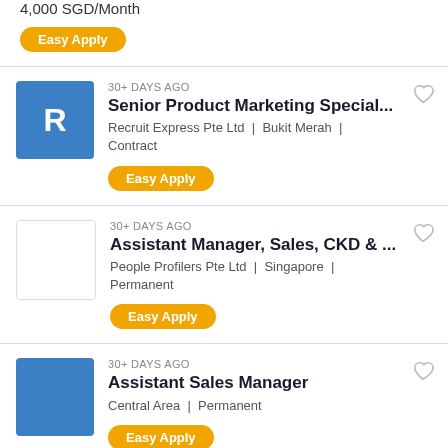4,000 SGD/Month
Easy Apply
30+ DAYS AGO
Senior Product Marketing Special...
Recruit Express Pte Ltd | Bukit Merah | Contract
Easy Apply
30+ DAYS AGO
Assistant Manager, Sales, CKD & ...
People Profilers Pte Ltd | Singapore | Permanent
Easy Apply
30+ DAYS AGO
Assistant Sales Manager
Central Area | Permanent
Easy Apply